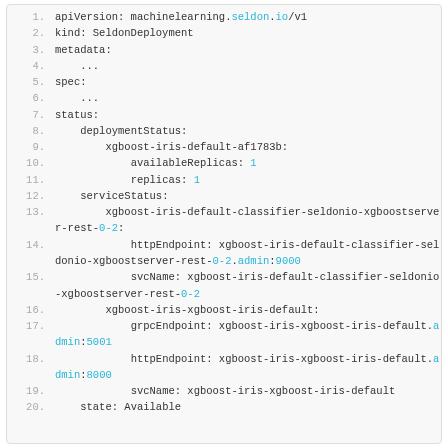[Figure (screenshot): Code block showing YAML output of a SeldonDeployment resource status with line numbers 1-20, including deploymentStatus and serviceStatus fields with xgboost-iris deployment details, endpoints, and state Available.]